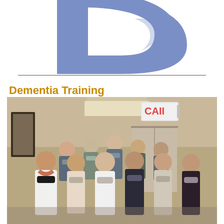[Figure (logo): Large blue-purple stylized letter P logo mark, partially cropped at top]
Dementia Training
[Figure (photo): Group photo of approximately 12 healthcare workers wearing face masks, standing together in a hallway/room with a red EXIT sign visible above them. Staff are wearing scrubs, white coats, and casual attire.]